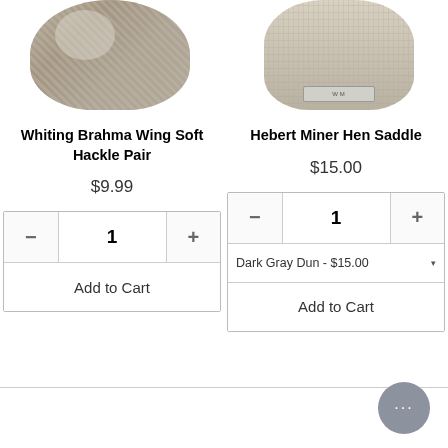[Figure (photo): Two product images at top: left is a Whiting Brahma Wing Soft Hackle Pair (knitted/feathered texture in gray-brown), right is a Hebert Miner Hen Saddle (fluffy beige fur with a small label tag)]
Whiting Brahma Wing Soft Hackle Pair
$9.99
Hebert Miner Hen Saddle
$15.00
Add to Cart (left product, quantity 1)
Dark Gray Dun - $15.00 (dropdown), Add to Cart (right product, quantity 1)